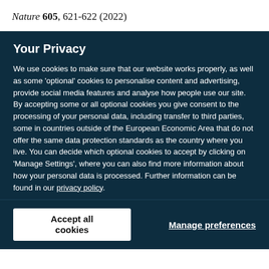Nature 605, 621-622 (2022)
Your Privacy
We use cookies to make sure that our website works properly, as well as some ‘optional’ cookies to personalise content and advertising, provide social media features and analyse how people use our site. By accepting some or all optional cookies you give consent to the processing of your personal data, including transfer to third parties, some in countries outside of the European Economic Area that do not offer the same data protection standards as the country where you live. You can decide which optional cookies to accept by clicking on ‘Manage Settings’, where you can also find more information about how your personal data is processed. Further information can be found in our privacy policy.
Accept all cookies
Manage preferences